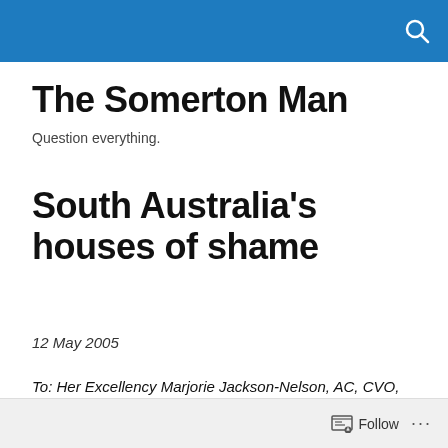The Somerton Man
Question everything.
South Australia’s houses of shame
12 May 2005
To: Her Excellency Marjorie Jackson-Nelson, AC, CVO, MBE Governor of South Australia and over the State of South Australia and its Dependencies in the Commonwealth of Australia
Follow